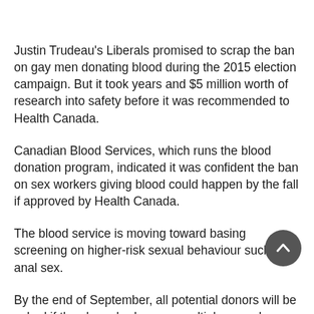Justin Trudeau's Liberals promised to scrap the ban on gay men donating blood during the 2015 election campaign. But it took years and $5 million worth of research into safety before it was recommended to Health Canada.
Canadian Blood Services, which runs the blood donation program, indicated it was confident the ban on sex workers giving blood could happen by the fall if approved by Health Canada.
The blood service is moving toward basing screening on higher-risk sexual behaviour such as anal sex.
By the end of September, all potential donors will be asked if they have had new or multiple sexual partners in the last